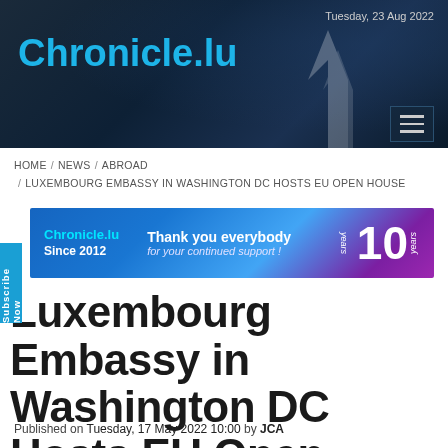Chronicle.lu — Tuesday, 23 Aug 2022
HOME / NEWS / ABROAD / LUXEMBOURG EMBASSY IN WASHINGTON DC HOSTS EU OPEN HOUSE
[Figure (other): Chronicle.lu anniversary banner ad: Thank you everybody for your continued support! 10 years, Since 2012]
Luxembourg Embassy in Washington DC Hosts EU Open House
Published on Tuesday, 17 May 2022 10:00 by JCA